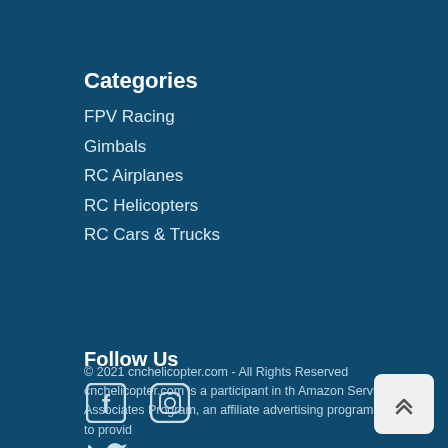Categories
FPV Racing
Gimbals
RC Airplanes
RC Helicopters
RC Cars & Trucks
Follow Us
[Figure (other): Social media icons: Facebook, Instagram, Twitter]
© 2021 cnchelicopter.com - All Rights Reserved cnchelicopter.com is a participant in the Amazon Services LLC Associates Program, an affiliate advertising program designed to provide